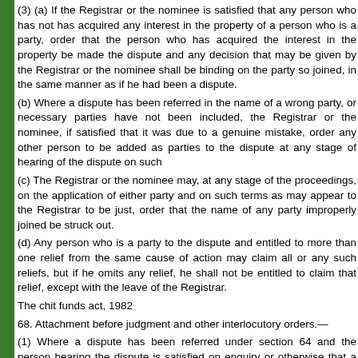(3) (a) If the Registrar or the nominee is satisfied that any person who has not has acquired any interest in the property of a person who is a party, order that the person who has acquired the interest in the property be made the dispute and any decision that may be given by the Registrar or the nominee shall be binding on the party so joined, in the same manner as if he had been a dispute.
(b) Where a dispute has been referred in the name of a wrong party, or necessary parties have not been included, the Registrar or the nominee, if satisfied that it was due to a genuine mistake, order any other person to be added as parties to the dispute at any stage of hearing of the dispute on such terms as
(c) The Registrar or the nominee may, at any stage of the proceedings, on the application of either party and on such terms as may appear to the Registrar to be just, order that the name of any party improperly joined be struck out.
(d) Any person who is a party to the dispute and entitled to more than one relief from the same cause of action may claim all or any such reliefs, but if he omits any relief, he shall not be entitled to claim that relief, except with the leave of the Registrar.
The chit funds act, 1982
68. Attachment before judgment and other interlocutory orders.—
(1) Where a dispute has been referred under section 64 and the person hearing the dispute is satisfied on enquiry or otherwise that a party